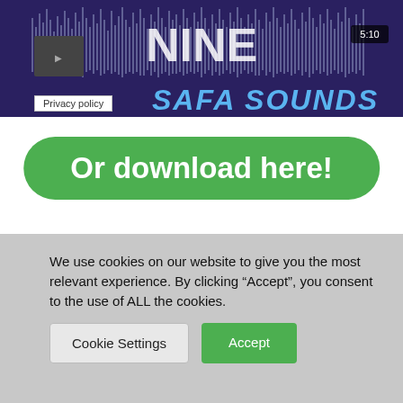[Figure (screenshot): A music player or audio waveform thumbnail with dark blue/purple background and waveform visualization. Shows 'NINE' logo and 'SAFA SOUNDS' text. A time badge showing 5:10 is in the top right. A 'Privacy policy' label overlays the bottom-left.]
Privacy policy
Or download here!
Tags:  arps  bass shots  Basses  brasses  claps  cymbal shots  FX  keys  kick shots  leads  percussion loops  percussion shots  plucks  Short Fills  shots  snares  synth loops  synth shots
We use cookies on our website to give you the most relevant experience. By clicking “Accept”, you consent to the use of ALL the cookies.
Cookie Settings
Accept